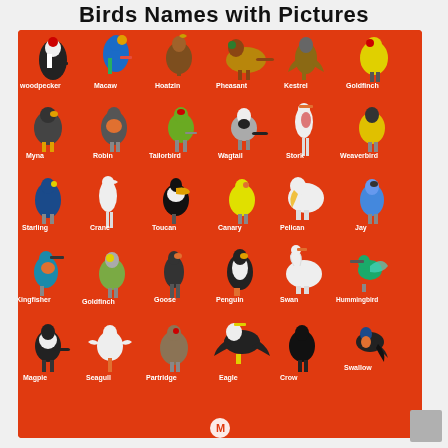Birds Names with Pictures
[Figure (infographic): Educational infographic showing 30 birds with their names and pictures on a red background. Birds shown: Woodpecker, Macaw, Hoatzin, Pheasant, Kestrel, Goldfinch, Myna, Robin, Tailorbird, Wagtail, Stork, Weaverbird, Starling, Crane, Toucan, Canary, Pelican, Jay, Kingfisher, Goldfinch, Goose, Penguin, Swan, Hummingbird, Magpie, Seagull, Partridge, Eagle, Crow, Swallow]